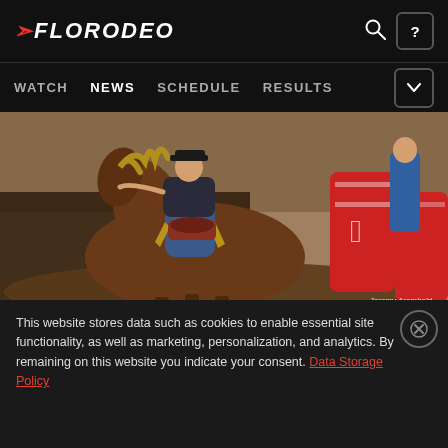FLORODEO — WATCH | NEWS | SCHEDULE | RESULTS
[Figure (photo): Rodeo photo of a rider on a bucking horse near red barrel, with photographer credit Jeremy Arambold]
Big payouts, outstanding athletes and historic rodeo arenas are all part of the SMS Equipment Pro Rodeo
This website stores data such as cookies to enable essential site functionality, as well as marketing, personalization, and analytics. By remaining on this website you indicate your consent. Data Storage Policy